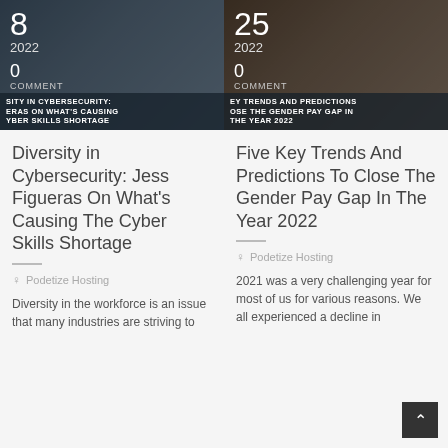[Figure (screenshot): Blog card thumbnail left: dark blue-gray overlay with day '8', year '2022', comment count '0', label 'COMMENT', and title text about diversity in cybersecurity]
Diversity in Cybersecurity: Jess Figueras On What's Causing The Cyber Skills Shortage
Podetize Hosting
Diversity in the workforce is an issue that many industries are striving to
[Figure (screenshot): Blog card thumbnail right: dark warm overlay with day '25', year '2022', comment count '0', label 'COMMENT', and title text about five key trends and gender pay gap]
Five Key Trends And Predictions To Close The Gender Pay Gap In The Year 2022
Podetize Hosting
2021 was a very challenging year for most of us for various reasons. We all experienced a decline in